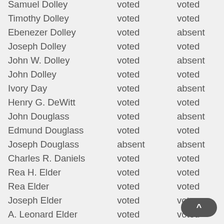| Name | Col2 | Col3 |
| --- | --- | --- |
| Samuel Dolley | voted | voted |
| Timothy Dolley | voted | voted |
| Ebenezer Dolley | voted | absent |
| Joseph Dolley | voted | voted |
| John W. Dolley | voted | absent |
| John Dolley | voted | voted |
| Ivory Day | voted | absent |
| Henry G. DeWitt | voted | voted |
| John Douglass | voted | absent |
| Edmund Douglass | voted | voted |
| Joseph Douglass | absent | absent |
| Charles R. Daniels | voted | voted |
| Rea H. Elder | voted | voted |
| Rea Elder | voted | voted |
| Joseph Elder | voted | voted |
| A. Leonard Elder | voted | voted |